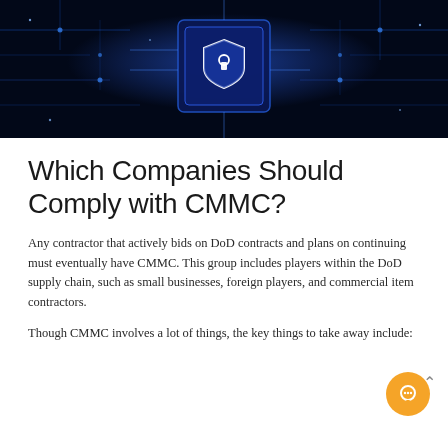[Figure (photo): Circuit board with glowing blue neon lines and a shield/lock icon in the center, representing cybersecurity concept.]
Which Companies Should Comply with CMMC?
Any contractor that actively bids on DoD contracts and plans on continuing must eventually have CMMC. This group includes players within the DoD supply chain, such as small businesses, foreign players, and commercial item contractors.
Though CMMC involves a lot of things, the key things to take away include: